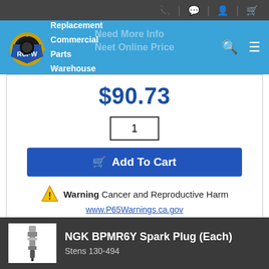RCPW - Replacement Commercial Parts Warehouse
$90.73
1
Add To Cart
Warning Cancer and Reproductive Harm www.P65Warnings.ca.gov
[Figure (photo): NGK spark plug product thumbnail]
NGK BPMR6Y Spark Plug (Each)
Stens 130-494